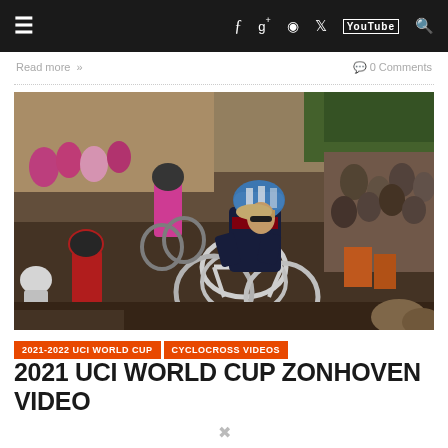≡  f  g+  ◉  𝕋  YouTube  🔍
Read more »   💬 0 Comments
[Figure (photo): Cyclocross race action photo showing cyclists navigating a steep dirt course, crowds watching. A female rider in a blue helmet and dark kit leads on a white bike, other riders in pink and red/black kits visible.]
2021-2022 UCI WORLD CUP
CYCLOCROSS VIDEOS
2021 UCI WORLD CUP ZONHOVEN VIDEO